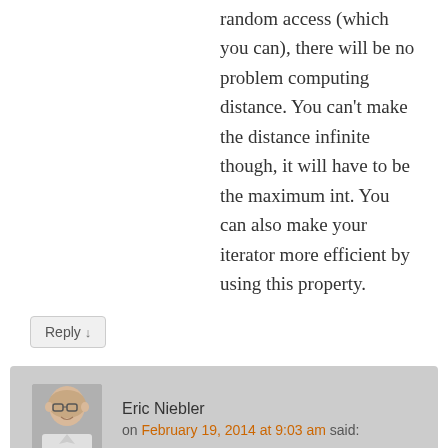random access (which you can), there will be no problem computing distance. You can't make the distance infinite though, it will have to be the maximum int. You can also make your iterator more efficient by using this property.
Reply ↓
Eric Niebler
on February 19, 2014 at 9:03 am said:
Binary search requires a pair of random access iterators.
You sure about that? You should look at the requirements of the algorithms I listed. What you say is true about the iota range I showed, but it